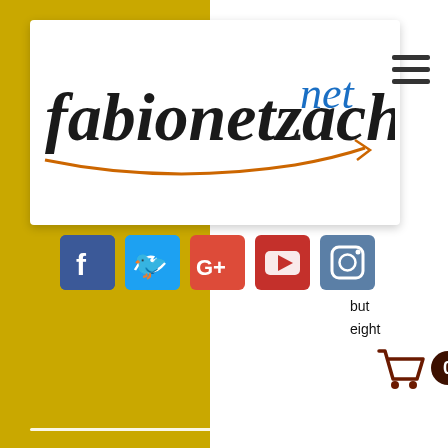[Figure (logo): fabionetzach.net website logo — handwritten italic text 'fabionetzach' with '.net' in blue script, underlined with an orange arrow curve]
[Figure (infographic): Row of five social media icons: Facebook (blue F), Twitter (blue bird), Google+ (red G+), YouTube (red play button), Instagram (blue camera)]
[Figure (infographic): Shopping cart icon with badge showing 0]
sed in
rcises
h set.
but
eight
orm
Core
more
provide
r
exercises and sets in a CFO Performance Center.
The Core Protocol method consists of four